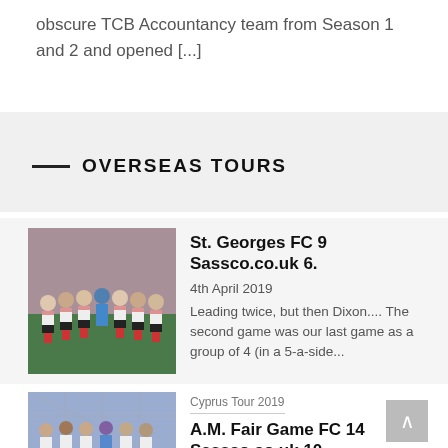obscure TCB Accountancy team from Season 1 and 2 and opened [...]
OVERSEAS TOURS
[Figure (photo): Group photo of football team in white and red striped shirts with black shorts, standing on a pitch]
St. Georges FC 9 Sassco.co.uk 6.
4th April 2019
Leading twice, but then Dixon.... The second game was our last game as a group of 4 (in a 5-a-side...
Cyprus Tour 2019
[Figure (photo): Group photo of football team in white and blue shirts standing on a court]
A.M. Fair Game FC 14 Sassco.co.uk 10